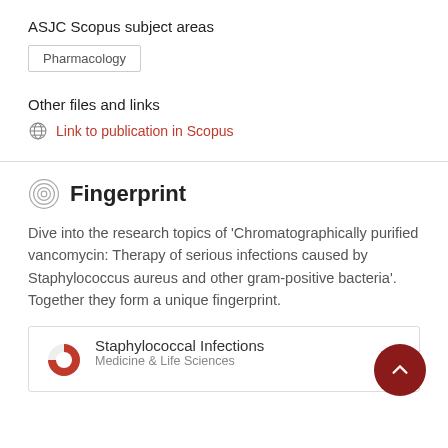ASJC Scopus subject areas
Pharmacology
Other files and links
Link to publication in Scopus
Fingerprint
Dive into the research topics of 'Chromatographically purified vancomycin: Therapy of serious infections caused by Staphylococcus aureus and other gram-positive bacteria'. Together they form a unique fingerprint.
Staphylococcal Infections
Medicine & Life Sciences